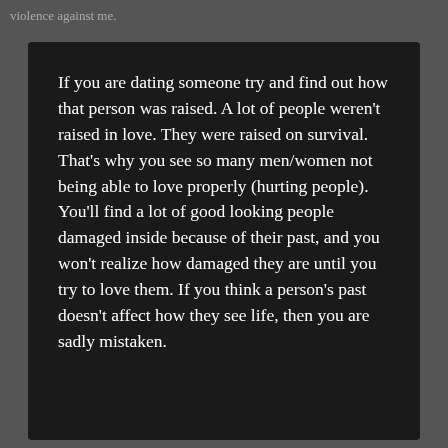violence against me.
If you are dating someone try and find out how that person was raised. A lot of people weren't raised in love. They were raised on survival. That's why you see so many men/women not being able to love properly (hurting people). You'll find a lot of good looking people damaged inside because of their past, and you won't realize how damaged they are until you try to love them. If you think a person's past doesn't affect how they see life, then you are sadly mistaken.